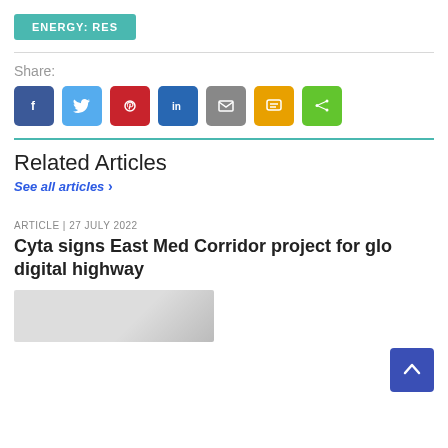ENERGY: RES
Share:
[Figure (other): Social share buttons: Facebook, Twitter, Pinterest, LinkedIn, Email, SMS, Share]
Related Articles
See all articles >
ARTICLE | 27 JULY 2022
Cyta signs East Med Corridor project for global digital highway
[Figure (photo): Thumbnail image of an article about Cyta East Med Corridor project]